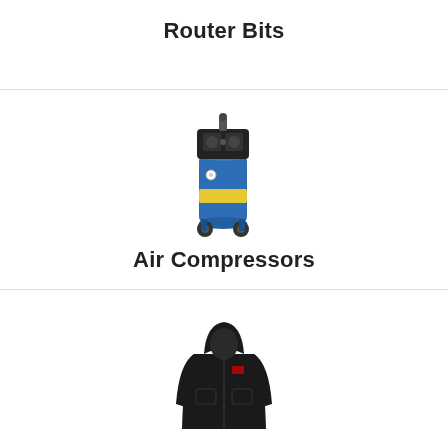Router Bits
[Figure (photo): Blue vertical air compressor on wheels with black motor on top]
Air Compressors
[Figure (photo): Black hooded jacket/sweatshirt]